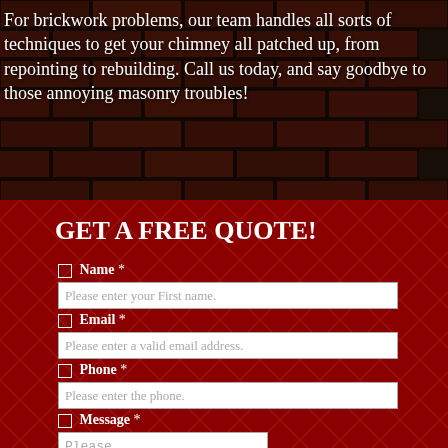[Figure (photo): Dark brick wall background with reddish-brown brick texture visible]
For brickwork problems, our team handles all sorts of techniques to get your chimney all patched up, from repointing to rebuilding. Call us today, and say goodbye to those annoying masonry troubles!
GET A FREE QUOTE!
☐ Name *
Please enter your First name.
☐ Email *
Please enter a valid email address.
☐ Phone *
Please enter the phone.
☐ Message *
Please enter your message.